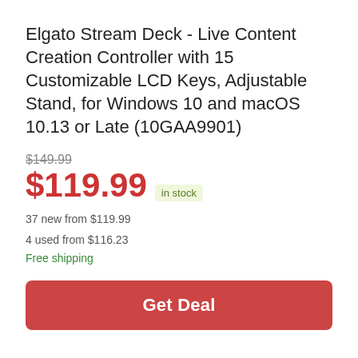Elgato Stream Deck - Live Content Creation Controller with 15 Customizable LCD Keys, Adjustable Stand, for Windows 10 and macOS 10.13 or Late (10GAA9901)
$149.99 (strikethrough original price)
$119.99 in stock
37 new from $119.99
4 used from $116.23
Free shipping
Get Deal